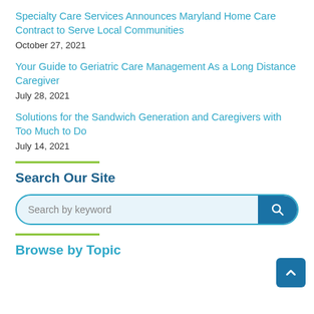Specialty Care Services Announces Maryland Home Care Contract to Serve Local Communities
October 27, 2021
Your Guide to Geriatric Care Management As a Long Distance Caregiver
July 28, 2021
Solutions for the Sandwich Generation and Caregivers with Too Much to Do
July 14, 2021
Search Our Site
[Figure (other): Search bar with text input labeled 'Search by keyword' and a teal search button with magnifying glass icon]
Browse by Topic